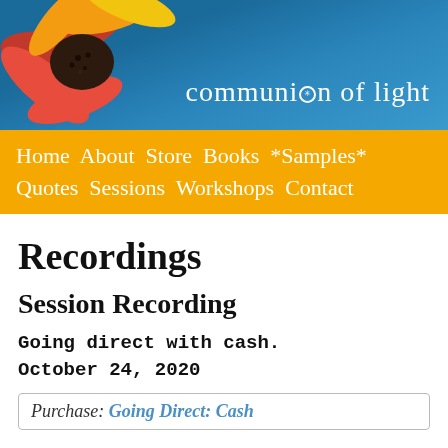[Figure (illustration): Website header banner with a red-yellow flower on the left, blue ocean/sky background, and 'communion of light' text logo on the right]
Home  About  Store  Books  *Samples*  Quotes  Sessions  Workshops  Contact
Recordings
Session Recording
Going direct with cash.
October 24, 2020
Purchase: Going Direct: Cash